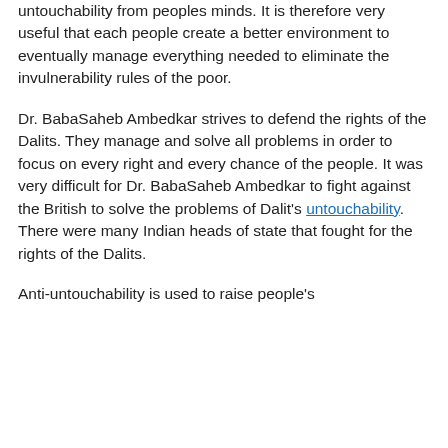untouchability from peoples minds. It is therefore very useful that each people create a better environment to eventually manage everything needed to eliminate the invulnerability rules of the poor.
Dr. BabaSaheb Ambedkar strives to defend the rights of the Dalits. They manage and solve all problems in order to focus on every right and every chance of the people. It was very difficult for Dr. BabaSaheb Ambedkar to fight against the British to solve the problems of Dalit's untouchability. There were many Indian heads of state that fought for the rights of the Dalits.
Anti-untouchability is used to raise people's